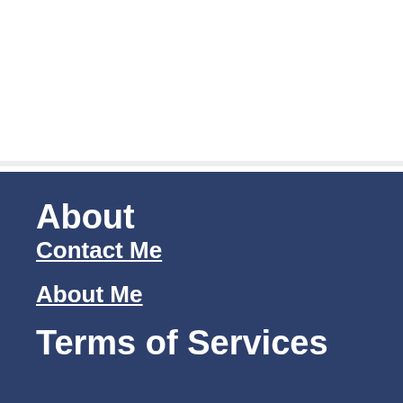About
Contact Me
About Me
Terms of Services